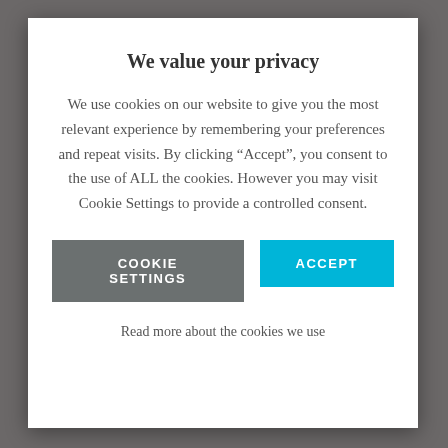We value your privacy
We use cookies on our website to give you the most relevant experience by remembering your preferences and repeat visits. By clicking “Accept”, you consent to the use of ALL the cookies. However you may visit Cookie Settings to provide a controlled consent.
COOKIE SETTINGS
ACCEPT
Read more about the cookies we use